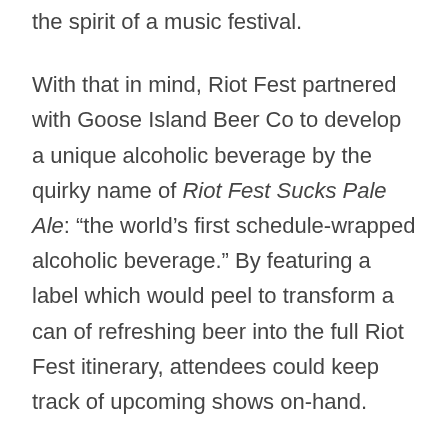the spirit of a music festival.
With that in mind, Riot Fest partnered with Goose Island Beer Co to develop a unique alcoholic beverage by the quirky name of Riot Fest Sucks Pale Ale: “the world’s first schedule-wrapped alcoholic beverage.” By featuring a label which would peel to transform a can of refreshing beer into the full Riot Fest itinerary, attendees could keep track of upcoming shows on-hand.